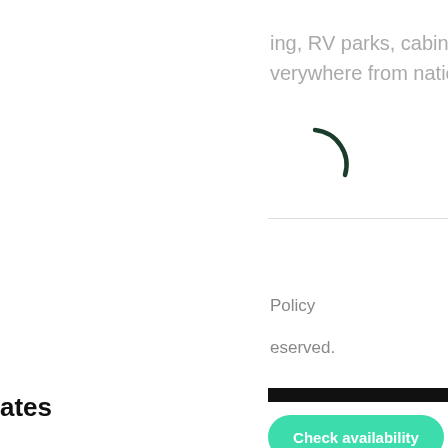ing, RV parks, cabins,
verywhere from national
[Figure (other): Partial loading spinner arc, dark green stroke, partially visible]
Policy
eserved.
ates
Check availability